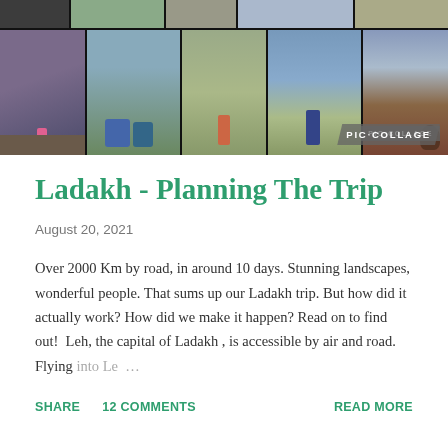[Figure (photo): Photo collage of Ladakh trip showing multiple travel photos including landscapes, family portraits, and mountain scenery. PIC·COLLAGE watermark in bottom right.]
Ladakh - Planning The Trip
August 20, 2021
Over 2000 Km by road, in around 10 days. Stunning landscapes, wonderful people. That sums up our Ladakh trip. But how did it actually work? How did we make it happen? Read on to find out!  Leh, the capital of Ladakh , is accessible by air and road. Flying into Le…
SHARE   12 COMMENTS   READ MORE